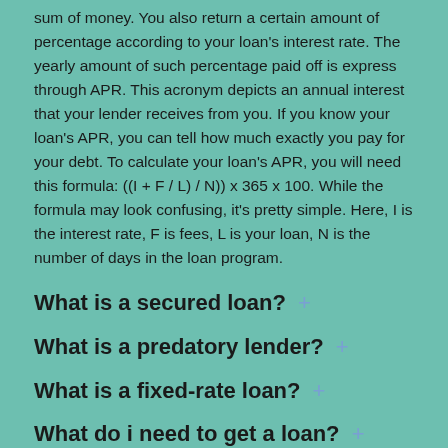sum of money. You also return a certain amount of percentage according to your loan's interest rate. The yearly amount of such percentage paid off is express through APR. This acronym depicts an annual interest that your lender receives from you. If you know your loan's APR, you can tell how much exactly you pay for your debt. To calculate your loan's APR, you will need this formula: ((I + F / L) / N)) x 365 x 100. While the formula may look confusing, it's pretty simple. Here, I is the interest rate, F is fees, L is your loan, N is the number of days in the loan program.
What is a secured loan? +
What is a predatory lender? +
What is a fixed-rate loan? +
What do i need to get a loan? +
What is an installment loan? +